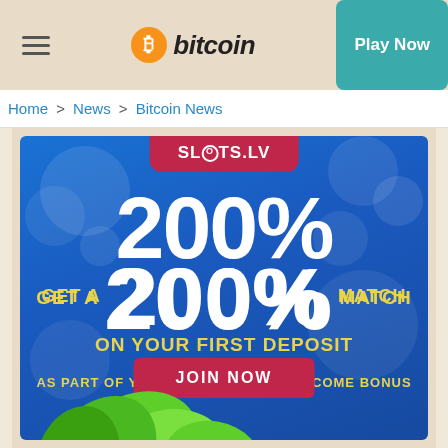bitcoin | Play Now
Home > News > Bitcoin News
[Figure (advertisement): SLOTS.LV casino advertisement: GET A 200% MATCH ON YOUR FIRST DEPOSIT AS PART OF YOUR $5,000 WELCOME BONUS. JOIN NOW button. Blue bokeh background with green leaves and character at bottom.]